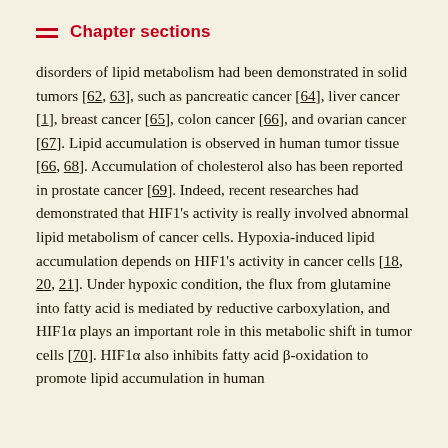Chapter sections
disorders of lipid metabolism had been demonstrated in solid tumors [62, 63], such as pancreatic cancer [64], liver cancer [1], breast cancer [65], colon cancer [66], and ovarian cancer [67]. Lipid accumulation is observed in human tumor tissue [66, 68]. Accumulation of cholesterol also has been reported in prostate cancer [69]. Indeed, recent researches had demonstrated that HIF1's activity is really involved abnormal lipid metabolism of cancer cells. Hypoxia-induced lipid accumulation depends on HIF1's activity in cancer cells [18, 20, 21]. Under hypoxic condition, the flux from glutamine into fatty acid is mediated by reductive carboxylation, and HIF1α plays an important role in this metabolic shift in tumor cells [70]. HIF1α also inhibits fatty acid β-oxidation to promote lipid accumulation in human